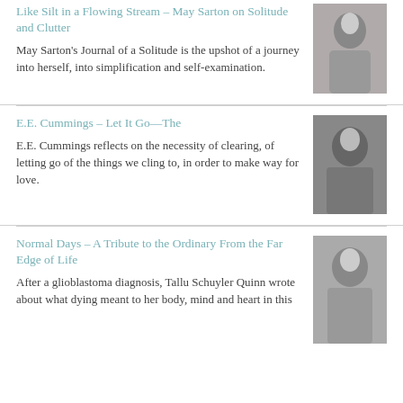Like Silt in a Flowing Stream – May Sarton on Solitude and Clutter
May Sarton's Journal of a Solitude is the upshot of a journey into herself, into simplification and self-examination.
[Figure (photo): Black and white photo of May Sarton]
E.E. Cummings – Let It Go—The
E.E. Cummings reflects on the necessity of clearing, of letting go of the things we cling to, in order to make way for love.
[Figure (photo): Black and white photo of E.E. Cummings]
Normal Days – A Tribute to the Ordinary From the Far Edge of Life
After a glioblastoma diagnosis, Tallu Schuyler Quinn wrote about what dying meant to her body, mind and heart in this
[Figure (photo): Black and white photo related to Normal Days article]